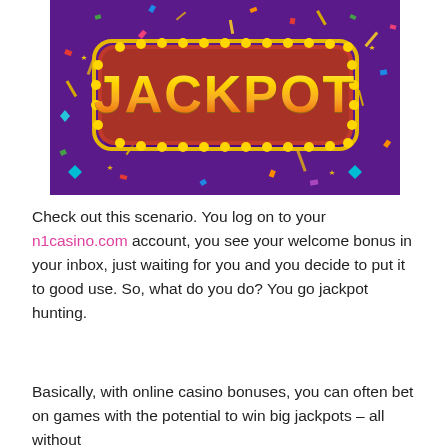[Figure (illustration): Jackpot sign with gold letters on red background with marquee lights, surrounded by colorful confetti on dark purple background]
Check out this scenario. You log on to your n1casino.com account, you see your welcome bonus in your inbox, just waiting for you and you decide to put it to good use. So, what do you do? You go jackpot hunting.
Basically, with online casino bonuses, you can often bet on games with the potential to win big jackpots – all without